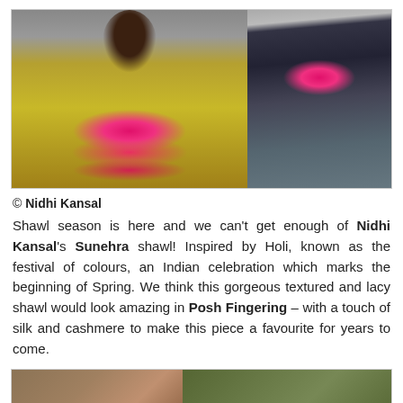[Figure (photo): Two photos side by side: left photo shows a woman holding out a large olive/gold and pink lacy shawl with decorative edge; right photo shows a woman wearing the same shawl draped around her neck over a dark floral outfit.]
© Nidhi Kansal
Shawl season is here and we can't get enough of Nidhi Kansal's Sunehra shawl! Inspired by Holi, known as the festival of colours, an Indian celebration which marks the beginning of Spring. We think this gorgeous textured and lacy shawl would look amazing in Posh Fingering – with a touch of silk and cashmere to make this piece a favourite for years to come.
[Figure (photo): Two partial photos at the bottom of the page, cropped. Left shows a warm-toned indoor scene; right shows a dark olive/green textured fabric or garment.]